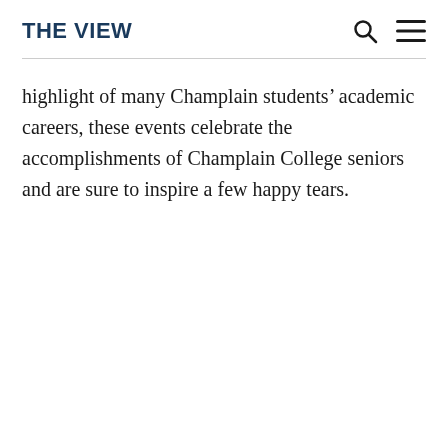THE VIEW
highlight of many Champlain students’ academic careers, these events celebrate the accomplishments of Champlain College seniors and are sure to inspire a few happy tears.